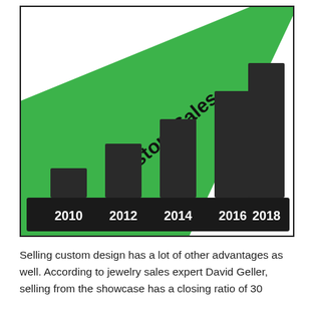[Figure (bar-chart): Custom Sales]
Selling custom design has a lot of other advantages as well. According to jewelry sales expert David Geller, selling from the showcase has a closing ratio of 30